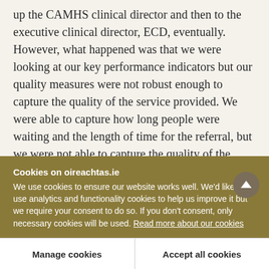up the CAMHS clinical director and then to the executive clinical director, ECD, eventually. However, what happened was that we were looking at our key performance indicators but our quality measures were not robust enough to capture the quality of the service provided. We were able to capture how long people were waiting and the length of time for the referral, but we were not able to capture the quality of the service that was provided on the ground. We realise we need to do a lot of work to improve how
Cookies on oireachtas.ie
We use cookies to ensure our website works well. We'd like to use analytics and functionality cookies to help us improve it but we require your consent to do so. If you don't consent, only necessary cookies will be used. Read more about our cookies
Manage cookies
Accept all cookies